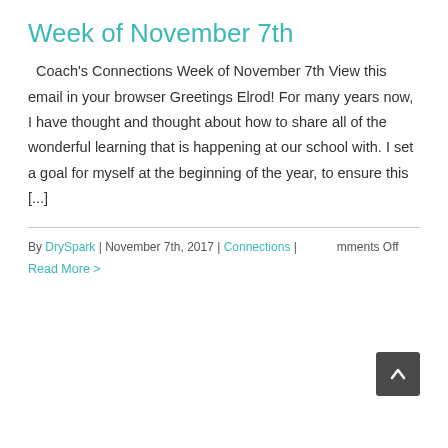Week of November 7th
Coach's Connections Week of November 7th View this email in your browser Greetings Elrod! For many years now, I have thought and thought about how to share all of the wonderful learning that is happening at our school with. I set a goal for myself at the beginning of the year, to ensure this [...]
By DrySpark | November 7th, 2017 | Connections | Comments Off
Read More >